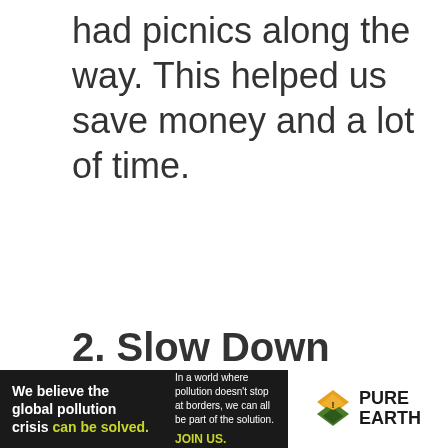had picnics along the way. This helped us save money and a lot of time.
2. Slow Down
[Figure (infographic): Advertisement banner for Pure Earth. Left dark section reads 'We believe the global pollution crisis can be solved.' Right section reads 'In a world where pollution doesn't stop at borders, we can all be part of the solution. JOIN US.' Pure Earth logo on white background on the right.]